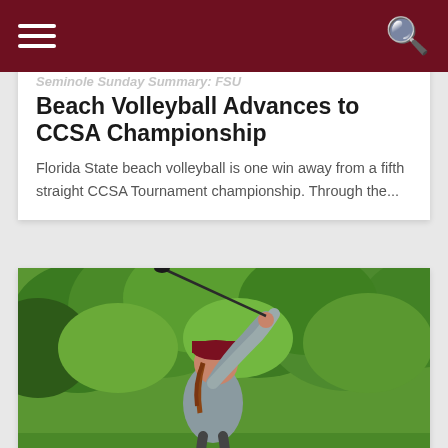Navigation bar with hamburger menu and search icon
Seminole Sunday Summary: FSU Beach Volleyball Advances to CCSA Championship
Florida State beach volleyball is one win away from a fifth straight CCSA Tournament championship. Through the...
[Figure (photo): FSU women's golfer in maroon cap and gray long-sleeve shirt mid-swing with a golf club, outdoor setting with green trees in the background]
Seminole Sunday Summary: FSU Women's Golf Advances to ACC Final